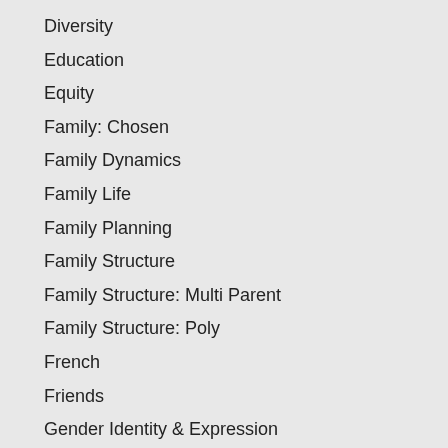Diversity
Education
Equity
Family: Chosen
Family Dynamics
Family Life
Family Planning
Family Structure
Family Structure: Multi Parent
Family Structure: Poly
French
Friends
Gender Identity & Expression
Gender Neutral Bathrooms
Gender Transition
GSA
Healthcare
Heteronormativity
Homophobia